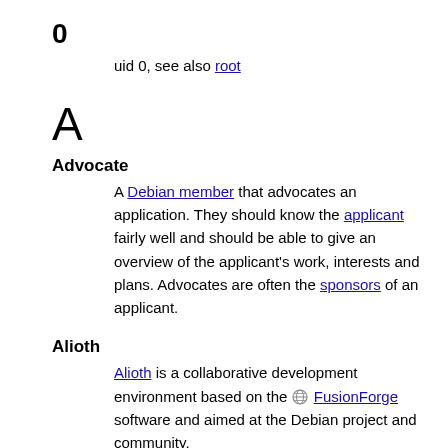0
uid 0, see also root
A
Advocate
A Debian member that advocates an application. They should know the applicant fairly well and should be able to give an overview of the applicant's work, interests and plans. Advocates are often the sponsors of an applicant.
Alioth
Alioth is a collaborative development environment based on the FusionForge software and aimed at the Debian project and community.
Alioth (guest) account